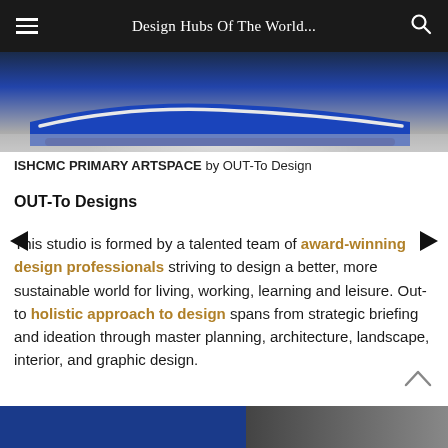Design Hubs Of The World...
[Figure (photo): Blue curved sofa/furniture piece photographed against a grey floor background]
ISHCMC PRIMARY ARTSPACE by OUT-To Design
OUT-To Designs
This studio is formed by a talented team of award-winning design professionals striving to design a better, more sustainable world for living, working, learning and leisure. Out-to holistic approach to design spans from strategic briefing and ideation through master planning, architecture, landscape, interior, and graphic design.
[Figure (photo): Bottom strip showing blue and dark toned image, partial view of interior or furniture]